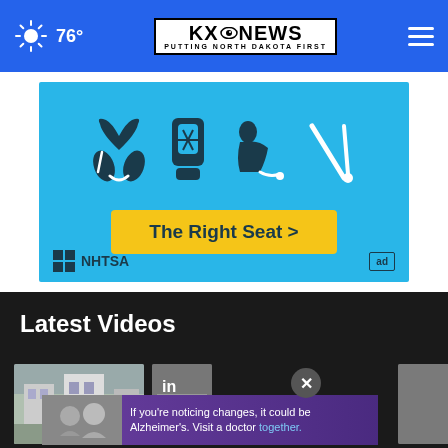KXO NEWS — Putting North Dakota First, 76°
[Figure (photo): NHTSA car seat safety advertisement with light blue background showing child seat icons and a yellow 'The Right Seat >' button]
Latest Videos
[Figure (screenshot): Video thumbnail row with a building/outdoor scene photo and a partial second thumbnail, overlaid with a close button (×) and a bottom banner ad reading 'If you're noticing changes, it could be Alzheimer's. Visit a doctor together.']